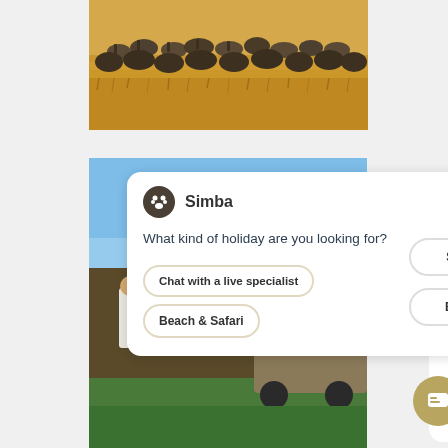[Figure (photo): A herd of wildebeest in golden savannah grassland]
[Figure (screenshot): Screenshot of a travel website showing a chatbot widget named 'Simba' with paw print icon asking 'What kind of holiday are you looking for?' with buttons: 'Chat with a live specialist', 'Safari', 'Beach & Safari', 'Beach'. Background shows a safari group photo with blue sky.]